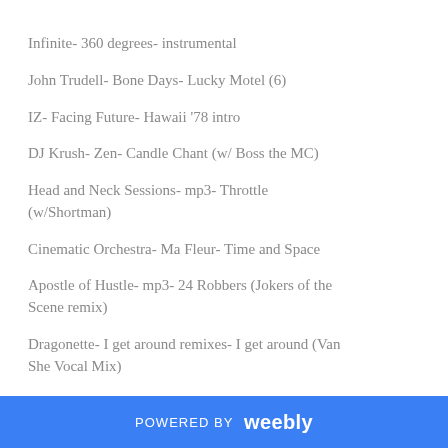Infinite- 360 degrees- instrumental
John Trudell- Bone Days- Lucky Motel (6)
IZ- Facing Future- Hawaii '78 intro
DJ Krush- Zen- Candle Chant (w/ Boss the MC)
Head and Neck Sessions- mp3- Throttle (w/Shortman)
Cinematic Orchestra- Ma Fleur- Time and Space
Apostle of Hustle- mp3- 24 Robbers (Jokers of the Scene remix)
Dragonette- I get around remixes- I get around (Van She Vocal Mix)
New Kanye- Graduation- Stronger
New Kanye- Graduation- Can't tell me nothing
Common- Finding Forever- The Game
A Tribe Called Quest- Midnight Marauders- Award Tour
Ghettosocks- Get Some Friends- A song about
POWERED BY weebly